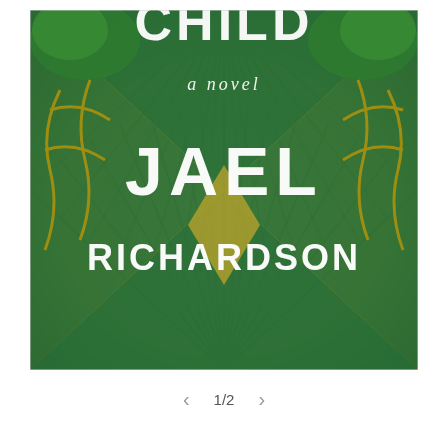[Figure (illustration): Book cover of a novel. The cover features a symmetrical, kaleidoscopic image with green and golden-yellow tones. A large green X or triangular shape overlays a mirrored nature scene with trees, branches, and ornate gates. White hand-lettered text reads partially visible 'CHILD' at the top, 'a novel' in italic script below, then large 'JAEL' and 'RICHARDSON' in a chalk-style font.]
< 1/2 >